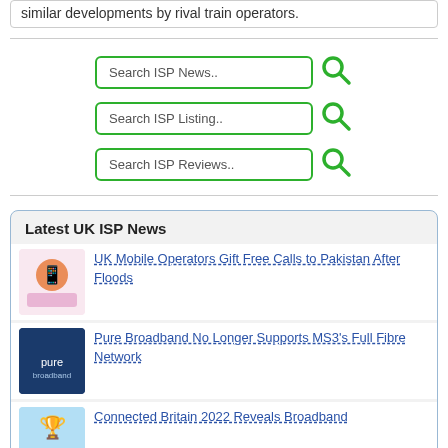similar developments by rival train operators.
[Figure (screenshot): Three search input boxes with green borders labeled 'Search ISP News..', 'Search ISP Listing..', 'Search ISP Reviews..', each with a green magnifying glass icon to the right.]
Latest UK ISP News
UK Mobile Operators Gift Free Calls to Pakistan After Floods
Pure Broadband No Longer Supports MS3's Full Fibre Network
Connected Britain 2022 Reveals Broadband